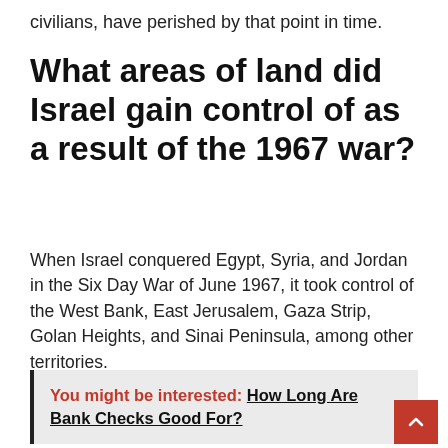civilians, have perished by that point in time.
What areas of land did Israel gain control of as a result of the 1967 war?
When Israel conquered Egypt, Syria, and Jordan in the Six Day War of June 1967, it took control of the West Bank, East Jerusalem, Gaza Strip, Golan Heights, and Sinai Peninsula, among other territories.
You might be interested: How Long Are Bank Checks Good For?